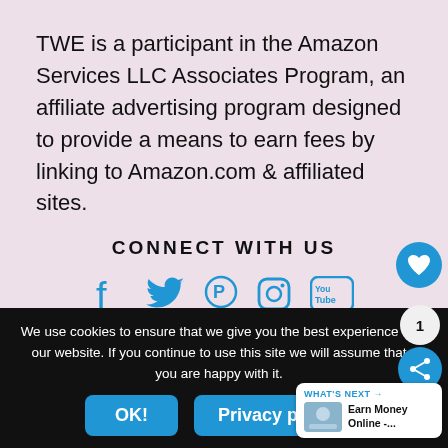TWE is a participant in the Amazon Services LLC Associates Program, an affiliate advertising program designed to provide a means to earn fees by linking to Amazon.com & affiliated sites.
CONNECT WITH US
[Figure (infographic): Social media icons: Facebook, Twitter, Pinterest, Instagram, YouTube in blue]
We use cookies to ensure that we give you the best experience on our website. If you continue to use this site we will assume that you are happy with it.
OK!  Privacy policy